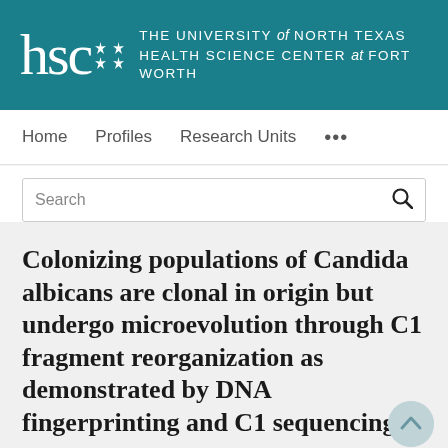[Figure (logo): University of North Texas Health Science Center at Fort Worth (HSC) logo — white text on teal background with star decorations]
Home    Profiles    Research Units    ...
Search
Colonizing populations of Candida albicans are clonal in origin but undergo microevolution through C1 fragment reorganization as demonstrated by DNA fingerprinting and C1 sequencing